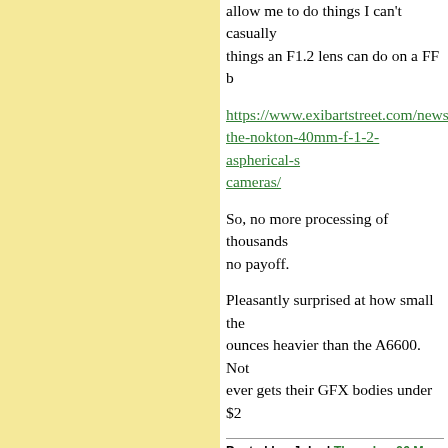allow me to do things I can't casually things an F1.2 lens can do on a FF b
https://www.exibartstreet.com/news/the-nokton-40mm-f-1-2-aspherical-s cameras/
So, no more processing of thousands no payoff.
Pleasantly surprised at how small the ounces heavier than the A6600. Not ever gets their GFX bodies under $2
Posted by: John | Thursday, 06 May 2021 at 05:10 PM
I have the A6000 and A6400. Seems complaints about earlier models. Big batteries quickly even if I follow all Second is the grip. I have small hand holding on with the tips of my finge